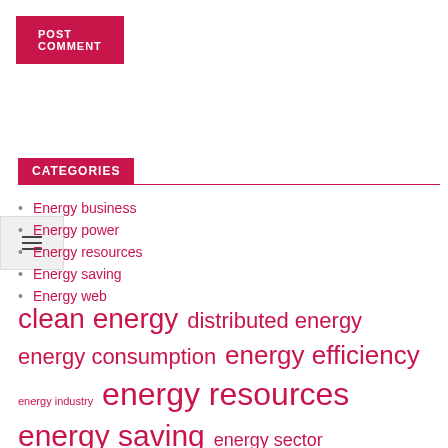[Figure (other): POST COMMENT button, pink/crimson background with white uppercase text]
[Figure (other): Hamburger menu icon (three horizontal bars) in a light grey box]
CATEGORIES
Energy business
Energy power
Energy resources
Energy saving
Energy web
clean energy  distributed energy  energy consumption  energy efficiency  energy industry  energy resources  energy saving  energy sector  energy sources  energy storage  energy web